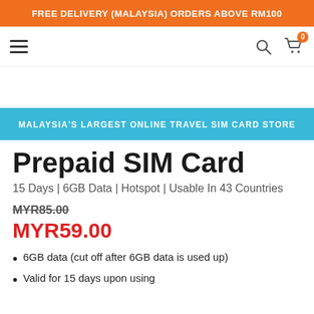FREE DELIVERY (MALAYSIA) ORDERS ABOVE RM100
[Figure (screenshot): Navigation bar with hamburger menu on left and search/cart icons on right. Cart shows badge with 0.]
MALAYSIA'S LARGEST ONLINE TRAVEL SIM CARD STORE
Prepaid SIM Card
15 Days | 6GB Data | Hotspot | Usable In 43 Countries
MYR85.00
MYR59.00
6GB data (cut off after 6GB data is used up)
Valid for 15 days upon using